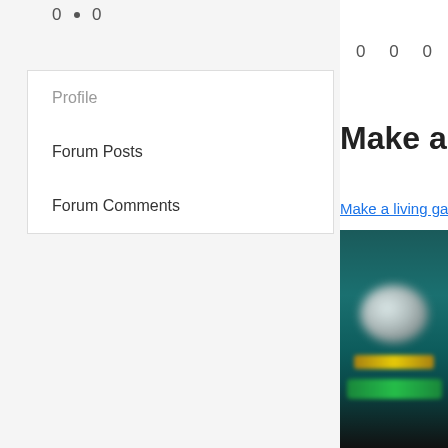0 • 0
0   0   0
Profile
Forum Posts
Forum Comments
Make a livin
Make a living gambli
[Figure (screenshot): Blurred screenshot of a gambling or casino game interface showing a chip or coin graphic, a gold bar, and a green button on a dark teal background.]